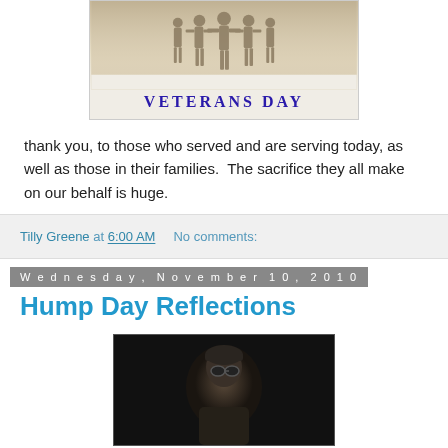[Figure (photo): Veterans Day image showing soldiers marching with 'VETERANS DAY' text in blue letters at the bottom]
thank you, to those who served and are serving today, as well as those in their families.  The sacrifice they all make on our behalf is huge.
Tilly Greene at 6:00 AM    No comments:
Wednesday, November 10, 2010
Hump Day Reflections
[Figure (photo): Dark photo of a person wearing goggles/helmet against dark background]